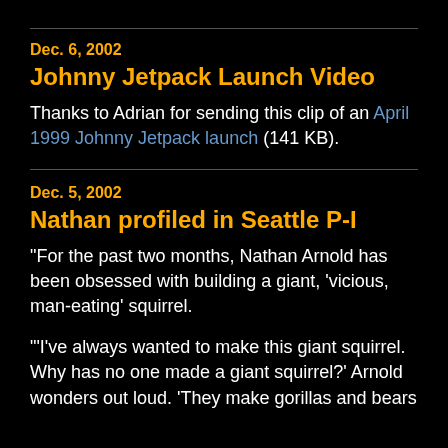Dec. 6, 2002
Johnny Jetpack Launch Video
Thanks to Adrian for sending this clip of an April 1999 Johnny Jetpack launch (141 KB).
Dec. 5, 2002
Nathan profiled in Seattle P-I
"For the past two months, Nathan Arnold has been obsessed with building a giant, 'vicious, man-eating' squirrel.
'"I've always wanted to make this giant squirrel. Why has no one made a giant squirrel?' Arnold wonders out loud. 'They make gorillas and bears